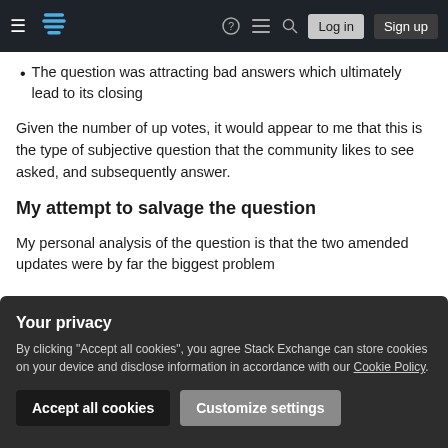Stack Exchange navigation bar with hamburger menu, logo, help, chat, search icons, Log in and Sign up buttons
The question was attracting bad answers which ultimately lead to its closing
Given the number of up votes, it would appear to me that this is the type of subjective question that the community likes to see asked, and subsequently answer.
My attempt to salvage the question
My personal analysis of the question is that the two amended updates were by far the biggest problem
Your privacy
By clicking "Accept all cookies", you agree Stack Exchange can store cookies on your device and disclose information in accordance with our Cookie Policy.
Accept all cookies
Customize settings
subjective (in my opinion) additional questions that